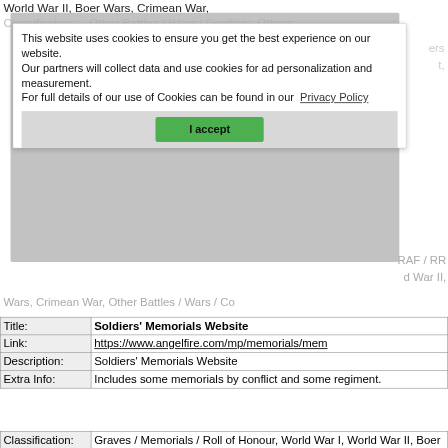World War II, Boer Wars, Crimean War, Other Battles / Wars / Conflicts, Others
[Figure (screenshot): Cookie consent dialog overlay showing message: 'This website uses cookies to ensure you get the best experience on our website. Our partners will collect data and use cookies for ad personalization and measurement. For full details of our use of Cookies can be found in our Privacy Policy' with a green 'I accept' button.]
| Title: | Soldiers' Memorials Website |
| Link: | https://www.angelfire.com/mp/memorials/mem |
| Description: | Soldiers' Memorials Website |
| Extra Info: | Includes some memorials by conflict and some regiment. |
| Classification: | Graves / Memorials / Roll of Honour, World War I, World War II, Boer Wars, Crimean War, Other Battles / Wars / Conflicts, Ships, Other Transport |